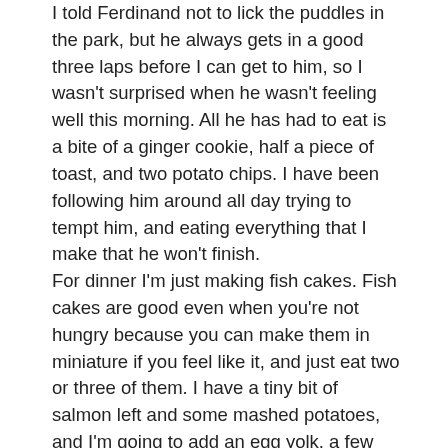I told Ferdinand not to lick the puddles in the park, but he always gets in a good three laps before I can get to him, so I wasn't surprised when he wasn't feeling well this morning. All he has had to eat is a bite of a ginger cookie, half a piece of toast, and two potato chips. I have been following him around all day trying to tempt him, and eating everything that I make that he won't finish. For dinner I'm just making fish cakes. Fish cakes are good even when you're not hungry because you can make them in miniature if you feel like it, and just eat two or three of them. I have a tiny bit of salmon left and some mashed potatoes, and I'm going to add an egg yolk, a few spoonfuls of mayonnaise, some chopped shallot, a little parsley, some garlic, lemon zest, salt and pepper. Form them into tiny little pucks and cover them with a sauce of whole milk yogurt, another bit of mayo, a spill of olive oil, lemon juice, garlic, chive, and salt. Eat them with pieces of avocado and slices of tomato, and a small salad of watercress on the side. The important thing is to cook them in your good olive oil, making sure that the pan is hot before they go in, and that you give them plenty of time on each side, so that they